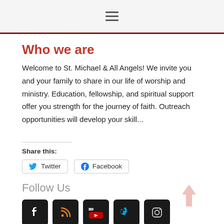Navigation menu (hamburger icon)
Who we are
Welcome to St. Michael & All Angels! We invite you and your family to share in our life of worship and ministry. Education, fellowship, and spiritual support offer you strength for the journey of faith. Outreach opportunities will develop your skill...
Share this:
Twitter  Facebook
Follow Us
[Figure (other): Social media icons: Facebook, RSS feed, YouTube, Vimeo, Instagram]